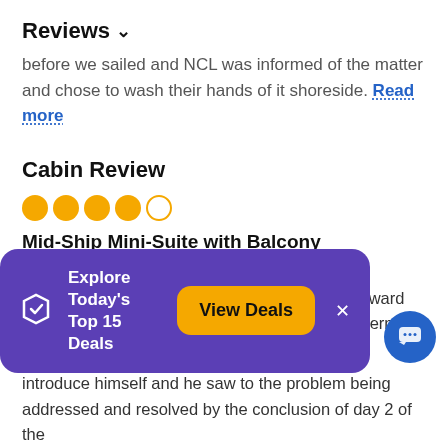Reviews ∨
before we sailed and NCL was informed of the matter and chose to wash their hands of it shoreside. Read more
Cabin Review
[Figure (other): 4 out of 5 star rating shown as orange filled and empty circles]
Mid-Ship Mini-Suite with Balcony
Stateroom – Club Balcony Suite (aka Mini-Suite)
The room was well looked after by the room steward Lemuel during the voyage. I did bring up a concern about
[Figure (infographic): Purple promotional banner: Explore Today's Top 15 Deals with View Deals button and X close button]
introduce himself and he saw to the problem being addressed and resolved by the conclusion of day 2 of the